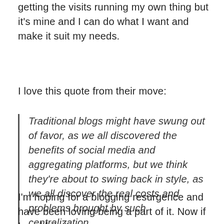getting the visits running my own thing but it's mine and I can do what I want and make it suit my needs.
I love this quote from their move:
Traditional blogs might have swung out of favor, as we all discovered the benefits of social media and aggregating platforms, but we think they're about to swing back in style, as we all discover the real costs and problems brought by such centralization.
I'm hoping for a blogging resurgence and have been loving being a part of it. Now if I could just